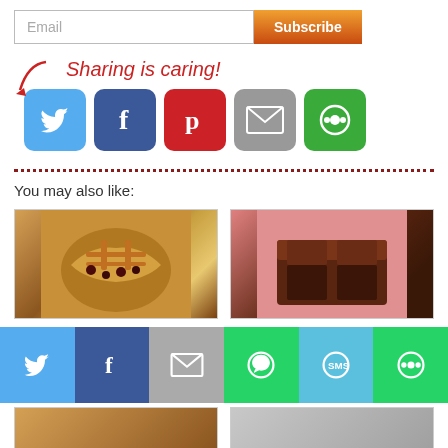Email
[Figure (infographic): Email subscription bar with text input and orange Subscribe button]
[Figure (infographic): Sharing is caring! text with arrow and 5 social share icon buttons: Twitter, Facebook, Pinterest, Email, Share]
You may also like:
[Figure (photo): Cherry pie photo thumbnail]
Cherry Pie - Paleo and Gluten-Free
[Figure (photo): Paleo brownies photo thumbnail]
Paleo Brownies
[Figure (infographic): Bottom share bar with Twitter, Facebook, Email, WhatsApp, SMS, More buttons]